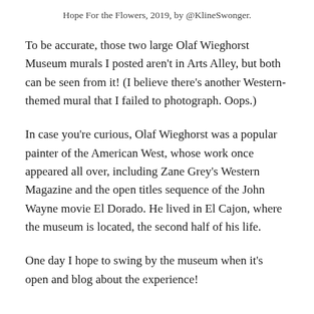Hope For the Flowers, 2019, by @KlineSwonger.
To be accurate, those two large Olaf Wieghorst Museum murals I posted aren't in Arts Alley, but both can be seen from it! (I believe there's another Western-themed mural that I failed to photograph. Oops.)
In case you're curious, Olaf Wieghorst was a popular painter of the American West, whose work once appeared all over, including Zane Grey's Western Magazine and the open titles sequence of the John Wayne movie El Dorado. He lived in El Cajon, where the museum is located, the second half of his life.
One day I hope to swing by the museum when it's open and blog about the experience!